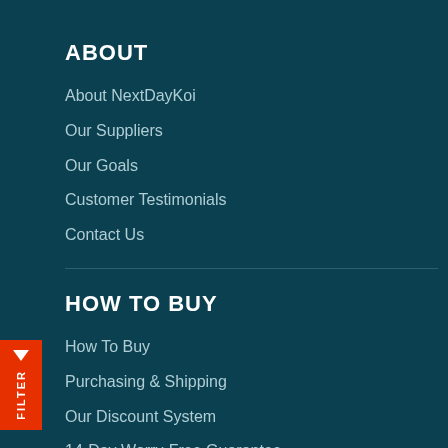ABOUT
About NextDayKoi
Our Suppliers
Our Goals
Customer Testimonials
Contact Us
HOW TO BUY
How To Buy
Purchasing & Shipping
Our Discount System
14-Day Worry-Free Guarantee
Become An Affiliate